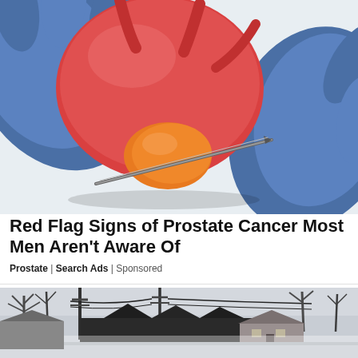[Figure (photo): Close-up of gloved hands (blue latex gloves) holding a red anatomical model of a bladder/prostate, with a needle or medical instrument being inserted into an orange-colored prostate portion.]
Red Flag Signs of Prostate Cancer Most Men Aren't Aware Of
Prostate | Search Ads | Sponsored
[Figure (photo): Outdoor scene showing a suburban street with utility poles, bare winter trees, and houses in muted grey tones, partially faded at bottom.]